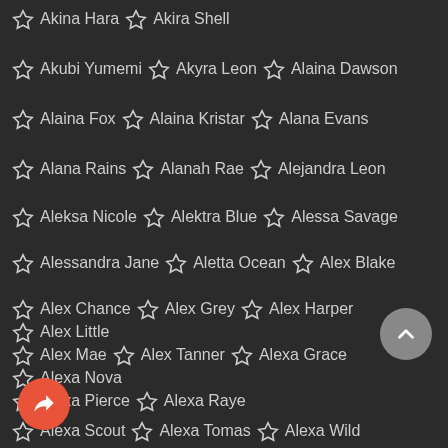Akina Hara  Akira Shell
Akubi Yumemi  Akyra Leon  Alaina Dawson
Alaina Fox  Alaina Kristar  Alana Evans
Alana Rains  Alanah Rae  Alejandra Leon
Aleksa Nicole  Alektra Blue  Alessa Savage
Alessandra Jane  Aletta Ocean  Alex Blake
Alex Chance  Alex Grey  Alex Harper  Alex Little
Alex Mae  Alex Tanner  Alexa Grace  Alexa Nova
Alexa Pierce  Alexa Raye
Alexa Scout  Alexa Tomas  Alexa Wild